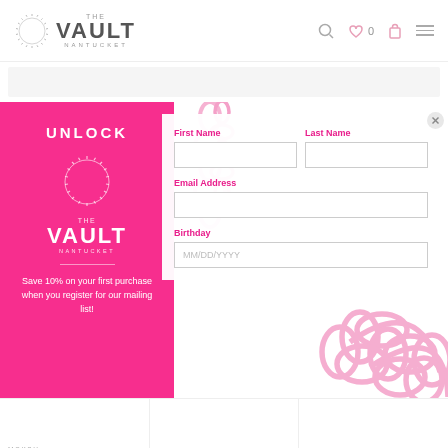[Figure (logo): The Vault Nantucket logo with circular sunburst icon and text]
UNLOCK
THE VAULT NANTUCKET
Save 10% on your first purchase when you register for our mailing list!
First Name
Last Name
Email Address
Birthday
MM/DD/YYYY
MOKSH
Jodhpur Ring
SHAY
Pink Sapphire Eternity Ring
WALT
Mo... Ri...